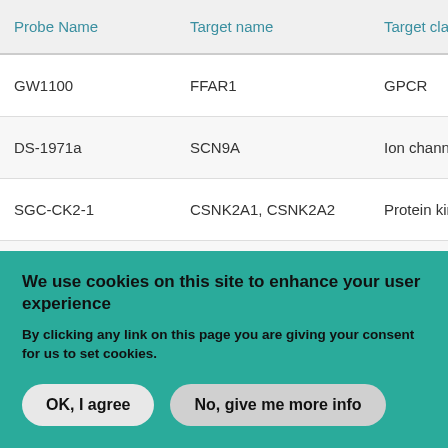| Probe Name | Target name | Target class |  |
| --- | --- | --- | --- |
| GW1100 | FFAR1 | GPCR | Free… |
| DS-1971a | SCN9A | Ion channel | Sod… |
| SGC-CK2-1 | CSNK2A1, CSNK2A2 | Protein kinase |  |
| SGC-CLK1 | CLK1, CLK2, CLK4 | Protein |  |
We use cookies on this site to enhance your user experience
By clicking any link on this page you are giving your consent for us to set cookies.